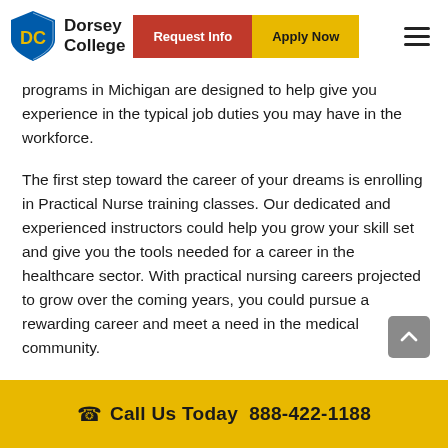Dorsey College — Request Info | Apply Now
programs in Michigan are designed to help give you experience in the typical job duties you may have in the workforce.
The first step toward the career of your dreams is enrolling in Practical Nurse training classes. Our dedicated and experienced instructors could help you grow your skill set and give you the tools needed for a career in the healthcare sector. With practical nursing careers projected to grow over the coming years, you could pursue a rewarding career and meet a need in the medical community.
Call Us Today  888-422-1188